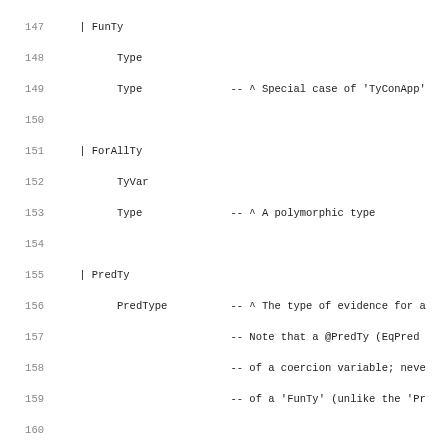Code listing lines 147-179 showing Haskell type definitions for Type, ForAllTy, PredTy, Kind, and SuperKind with comments.